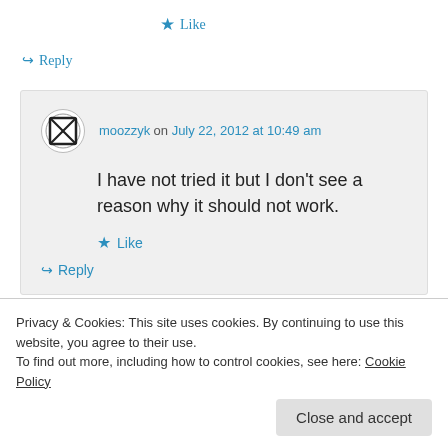★ Like
↪ Reply
moozzyk on July 22, 2012 at 10:49 am
I have not tried it but I don't see a reason why it should not work.
★ Like
↪ Reply
Privacy & Cookies: This site uses cookies. By continuing to use this website, you agree to their use.
To find out more, including how to control cookies, see here: Cookie Policy
Close and accept